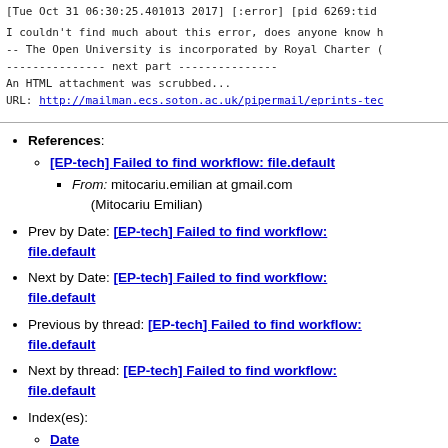[Tue Oct 31 06:30:25.401013 2017] [:error] [pid 6269:tid
I couldn't find much about this error, does anyone know h
-- The Open University is incorporated by Royal Charter (
--------------- next part ---------------
An HTML attachment was scrubbed...
URL: http://mailman.ecs.soton.ac.uk/pipermail/eprints-tec
References: [EP-tech] Failed to find workflow: file.default — From: mitocariu.emilian at gmail.com (Mitocariu Emilian)
Prev by Date: [EP-tech] Failed to find workflow: file.default
Next by Date: [EP-tech] Failed to find workflow: file.default
Previous by thread: [EP-tech] Failed to find workflow: file.default
Next by thread: [EP-tech] Failed to find workflow: file.default
Index(es): Date, Thread